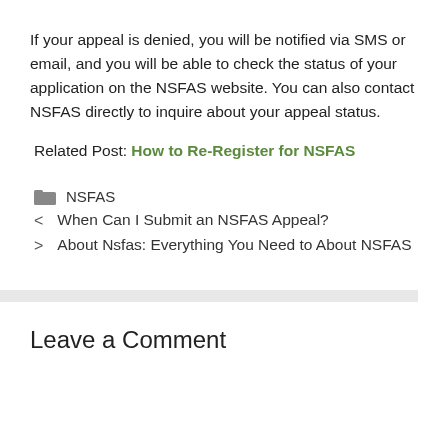If your appeal is denied, you will be notified via SMS or email, and you will be able to check the status of your application on the NSFAS website. You can also contact NSFAS directly to inquire about your appeal status.
Related Post: How to Re-Register for NSFAS
NSFAS
When Can I Submit an NSFAS Appeal?
About Nsfas: Everything You Need to About NSFAS
Leave a Comment